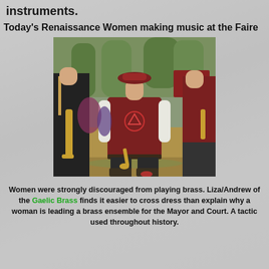instruments.
Today's Renaissance Women making music at the Faire
[Figure (photo): A woman in Renaissance faire costume wearing a dark red vest with a triquetra symbol, white puffy shirt, dark breeches and boots, holding a trumpet, standing outdoors at a Renaissance faire with other performers in similar costumes visible in the background.]
Women were strongly discouraged from playing brass. Liza/Andrew of the Gaelic Brass finds it easier to cross dress than explain why a woman is leading a brass ensemble for the Mayor and Court. A tactic used throughout history.